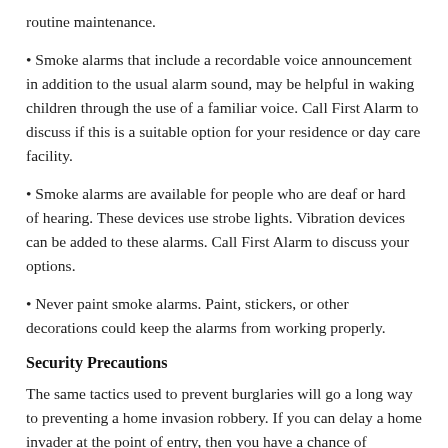routine maintenance.
• Smoke alarms that include a recordable voice announcement in addition to the usual alarm sound, may be helpful in waking children through the use of a familiar voice. Call First Alarm to discuss if this is a suitable option for your residence or day care facility.
• Smoke alarms are available for people who are deaf or hard of hearing. These devices use strobe lights. Vibration devices can be added to these alarms. Call First Alarm to discuss your options.
• Never paint smoke alarms. Paint, stickers, or other decorations could keep the alarms from working properly.
Security Precautions
The same tactics used to prevent burglaries will go a long way to preventing a home invasion robbery. If you can delay a home invader at the point of entry, then you have a chance of